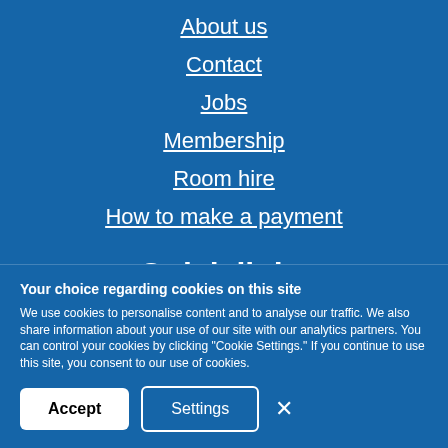About us
Contact
Jobs
Membership
Room hire
How to make a payment
Quick links
Members area
Your choice regarding cookies on this site
We use cookies to personalise content and to analyse our traffic. We also share information about your use of our site with our analytics partners. You can control your cookies by clicking "Cookie Settings." If you continue to use this site, you consent to our use of cookies.